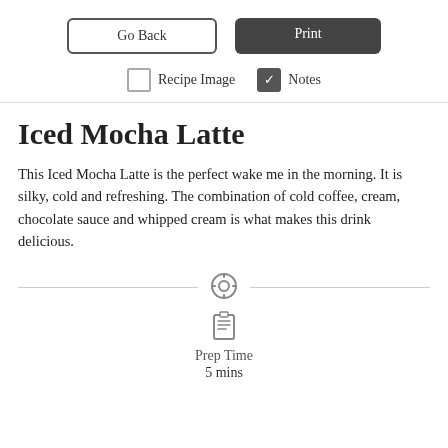[Figure (screenshot): UI buttons: 'Go Back' (outlined) and 'Print' (dark filled)]
[Figure (screenshot): Checkboxes: 'Recipe Image' (unchecked) and 'Notes' (checked)]
Iced Mocha Latte
This Iced Mocha Latte is the perfect wake me in the morning. It is silky, cold and refreshing. The combination of cold coffee, cream, chocolate sauce and whipped cream is what makes this drink delicious.
Prep Time
5 mins